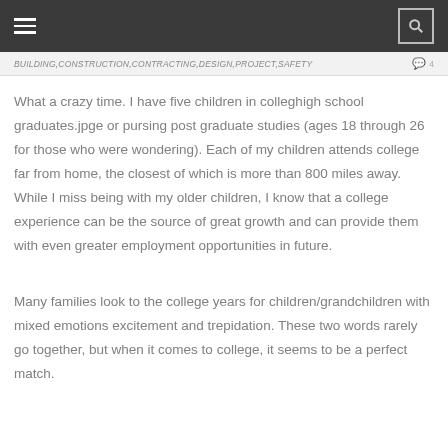BUILDING, CONSTRUCTION, CONTRACTING, DESIGN, PROJECT, SAFETY  4
What a crazy time. I have five children in colleghigh school graduates.jpge or pursing post graduate studies (ages 18 through 26 for those who were wondering). Each of my children attends college far from home, the closest of which is more than 800 miles away. While I miss being with my older children, I know that a college experience can be the source of great growth and can provide them with even greater employment opportunities in future.
Many families look to the college years for children/grandchildren with mixed emotions excitement and trepidation. These two words rarely go together, but when it comes to college, it seems to be a perfect match.